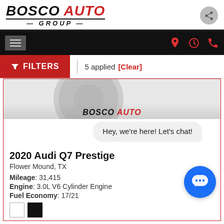[Figure (logo): Bosco Auto Group logo with black and red italic text]
[Figure (screenshot): Navigation bar with hamburger menu and icons for location, clock, phone]
FILTERS | 5 applied [Clear]
[Figure (photo): Partial car image showing wheel, with Bosco Auto watermark]
Hey, we're here! Let's chat!
2020 Audi Q7 Prestige
Flower Mound, TX
Mileage: 31,415
Engine: 3.0L V6 Cylinder Engine
Fuel Economy: 17/21
[Figure (illustration): Two color swatches: white and black]